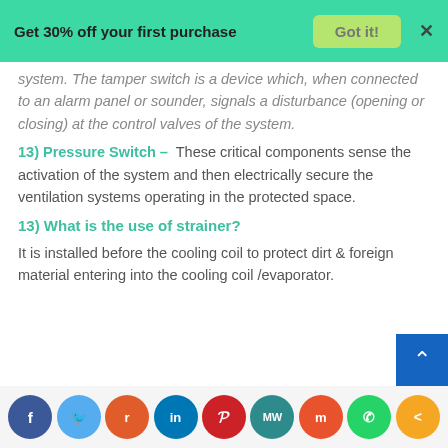Get 30% off your first purchase  Got it!  X
system. The tamper switch is a device which, when connected to an alarm panel or sounder, signals a disturbance (opening or closing) at the control valves of the system.
13) Pressure Switch –  These critical components sense the activation of the system and then electrically secure the ventilation systems operating in the protected space.
13) What is the use of strainer?
It is installed before the cooling coil to protect dirt & foreign material entering into the cooling coil /evaporator.
f  Twitter  Reddit  in  Pinterest  MW  Mix  WhatsApp  Share